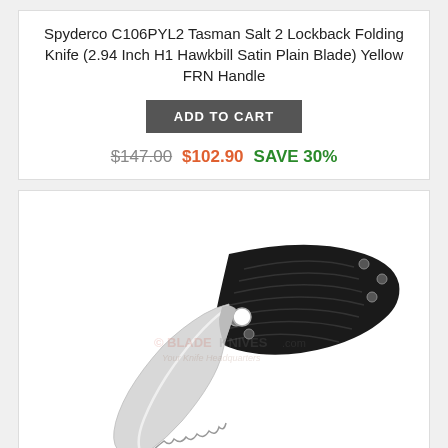Spyderco C106PYL2 Tasman Salt 2 Lockback Folding Knife (2.94 Inch H1 Hawkbill Satin Plain Blade) Yellow FRN Handle
ADD TO CART
$147.00  $102.90  SAVE 30%
[Figure (photo): Photo of Spyderco C106SBK2 Tasman Salt 2 Lockback Folding Knife with black FRN handle and silver hawkbill serrated blade, shown open on white background with watermark overlay.]
Spyderco C106SBK2 Tasman Salt 2 Lockback Folding